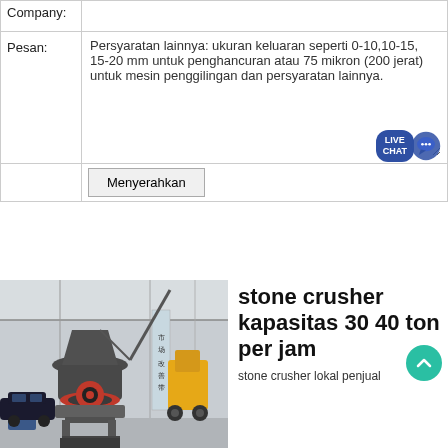| Label | Input |
| --- | --- |
| Company: |  |
| Pesan: | Persyaratan lainnya: ukuran keluaran seperti 0-10,10-15, 15-20 mm untuk penghancuran atau 75 mikron (200 jerat) untuk mesin penggilingan dan persyaratan lainnya. |
Menyerahkan
[Figure (photo): Stone crusher machine (cone/gyratory crusher) in an industrial warehouse facility, with red flywheel and grey body, alongside construction equipment and vehicles.]
stone crusher kapasitas 30 40 ton per jam
stone crusher lokal penjual